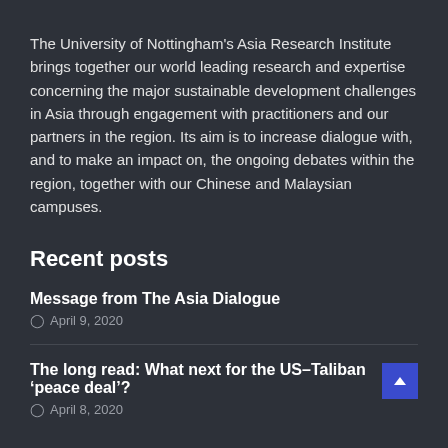The University of Nottingham's Asia Research Institute brings together our world leading research and expertise concerning the major sustainable development challenges in Asia through engagement with practitioners and our partners in the region. Its aim is to increase dialogue with, and to make an impact on, the ongoing debates within the region, together with our Chinese and Malaysian campuses.
Recent posts
Message from The Asia Dialogue
April 9, 2020
The long read: What next for the US–Taliban 'peace deal'?
April 8, 2020